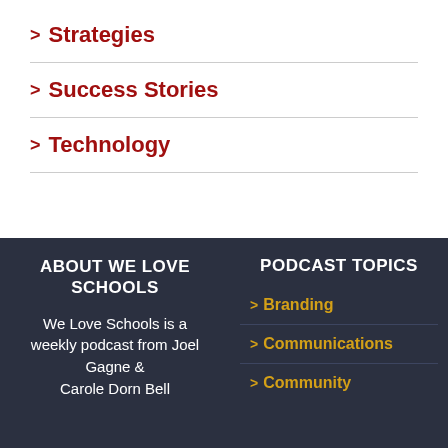> Strategies
> Success Stories
> Technology
ABOUT WE LOVE SCHOOLS
We Love Schools is a weekly podcast from Joel Gagne & Carole Dorn Bell
PODCAST TOPICS
> Branding
> Communications
> Community